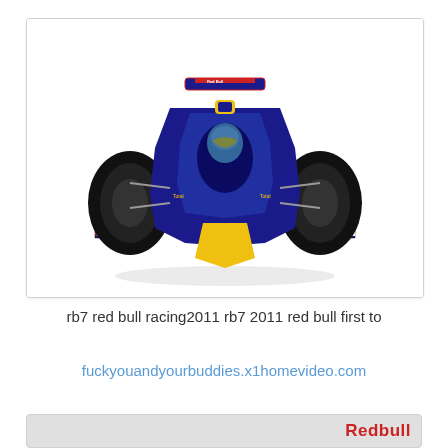[Figure (photo): Front-on view of a Red Bull RB7 Formula 1 racing car with blue, yellow and red livery including Red Bull branding on the front wing, on a white background]
rb7 red bull racing2011 rb7 2011 red bull first to
fuckyouandyourbuddies.x1homevideo.com
[Figure (photo): Partial view of a second Red Bull racing related image with grey background and Red Bull text visible at bottom right]